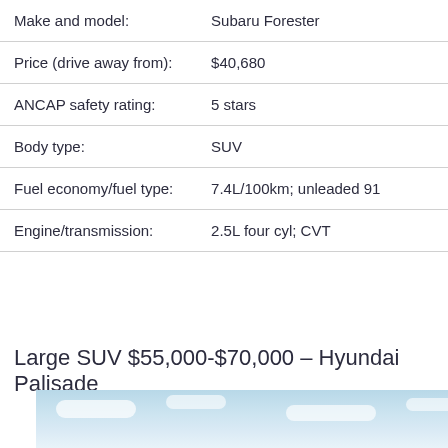| Field | Value |
| --- | --- |
| Make and model: | Subaru Forester |
| Price (drive away from): | $40,680 |
| ANCAP safety rating: | 5 stars |
| Body type: | SUV |
| Fuel economy/fuel type: | 7.4L/100km; unleaded 91 |
| Engine/transmission: | 2.5L four cyl; CVT |
Large SUV $55,000-$70,000 – Hyundai Palisade
[Figure (photo): Sky with clouds, light blue gradient background, bottom portion of page]